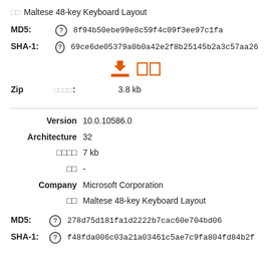□□ Maltese 48-key Keyboard Layout
MD5: ⓘ 8f94b50ebe99e8c59f4c09f3ee97c1fa
SHA-1: ⓘ 69ce6de05379a0b0a42e2f8b25145b2a3c57aa26
[Figure (other): Download icon (orange arrow pointing down with tray) and two orange squares icon]
Zip □□□□: 3.8 kb
Version 10.0.10586.0
Architecture 32
□□□□ 7 kb
□□ -
Company Microsoft Corporation
□□ Maltese 48-key Keyboard Layout
MD5: ⓘ 278d75d181fa1d2222b7cac60e704bd06
SHA-1: ⓘ f48fda006c03a21a03461c5ae7c9fa804fd84b2f